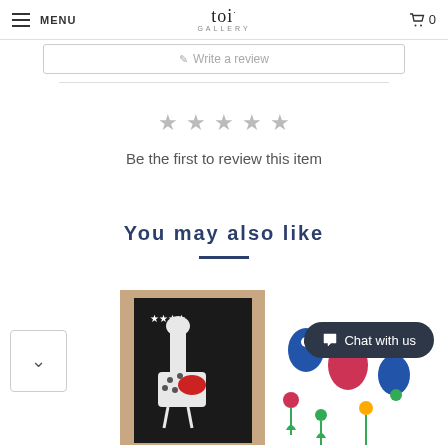MENU | toi GALLERY | 0
Write a review
★ ★ ★ ★ ★
Be the first to review this item
You may also like
[Figure (photo): Artwork print showing stylized giraffe/bird figures on dark background with star motifs, mounted on tan/kraft paper]
[Figure (photo): Colorful folk art illustration with stylized birds and floral patterns in blue, red, green on white background]
Chat with us